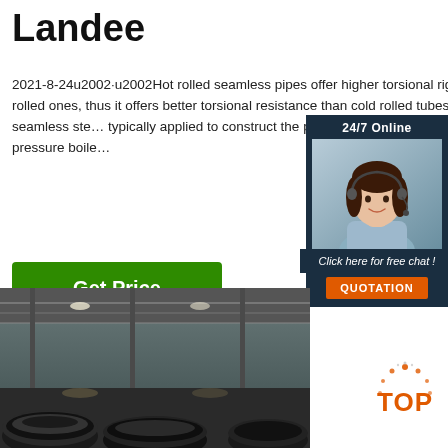Landee
2021-8-24u2002·u2002Hot rolled seamless pipes offer higher torsional rigidity than cold rolled ones, thus it offers better torsional resistance than cold rolled tubes. The hot rolled seamless steel pipes are typically applied to construct the pipeline systems for low, medium and high pressure boilers
[Figure (other): Green 'Get Price' button]
[Figure (other): Chat widget overlay with '24/7 Online' header, customer service representative photo, 'Click here for free chat!' text, and orange QUOTATION button]
[Figure (photo): Factory interior showing steel pipe coils/rolls on the floor with industrial ceiling structure]
[Figure (other): Orange and grey TOP badge/logo in bottom right corner]